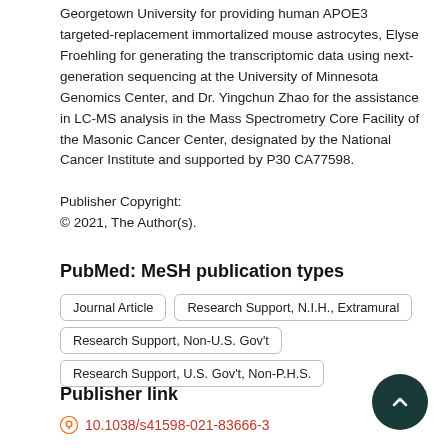Georgetown University for providing human APOE3 targeted-replacement immortalized mouse astrocytes, Elyse Froehling for generating the transcriptomic data using next-generation sequencing at the University of Minnesota Genomics Center, and Dr. Yingchun Zhao for the assistance in LC-MS analysis in the Mass Spectrometry Core Facility of the Masonic Cancer Center, designated by the National Cancer Institute and supported by P30 CA77598.
Publisher Copyright:
© 2021, The Author(s).
PubMed: MeSH publication types
Journal Article
Research Support, N.I.H., Extramural
Research Support, Non-U.S. Gov't
Research Support, U.S. Gov't, Non-P.H.S.
Publisher link
10.1038/s41598-021-83666-3